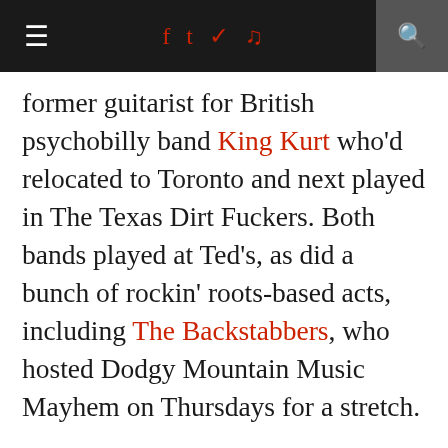≡  f  Twitter  RSS  music  🔍
former guitarist for British psychobilly band King Kurt who'd relocated to Toronto and next played in The Texas Dirt Fuckers. Both bands played at Ted's, as did a bunch of rockin' roots-based acts, including The Backstabbers, who hosted Dodgy Mountain Music Mayhem on Thursdays for a stretch.
Downstairs at Barcode, live music could be found a few nights each week, with Footman's beloved classical concerts eventually giving way to Terry Wilkins' and The Swing Gang's Wednesday weekly, and a Thursday